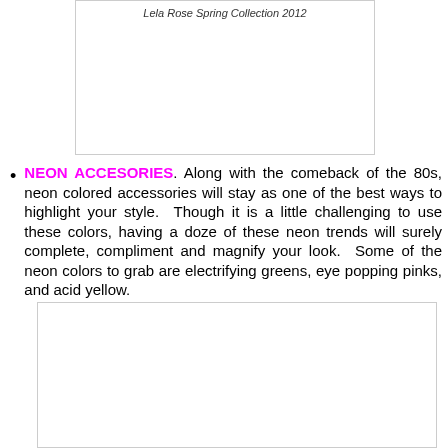Lela Rose Spring Collection 2012
NEON ACCESORIES. Along with the comeback of the 80s, neon colored accessories will stay as one of the best ways to highlight your style.  Though it is a little challenging to use these colors, having a doze of these neon trends will surely complete, compliment and magnify your look.  Some of the neon colors to grab are electrifying greens, eye popping pinks, and acid yellow.
[Figure (photo): Image placeholder with broken image icon]